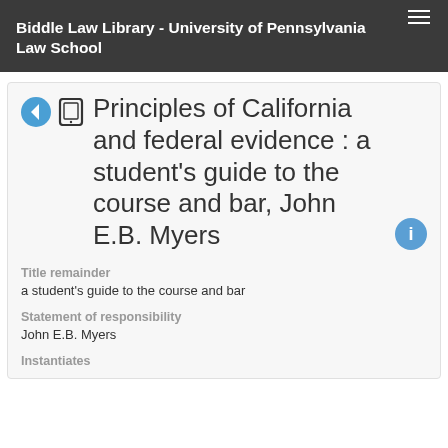Biddle Law Library - University of Pennsylvania Law School
Principles of California and federal evidence : a student's guide to the course and bar, John E.B. Myers
Title remainder
a student's guide to the course and bar
Statement of responsibility
John E.B. Myers
Instantiates